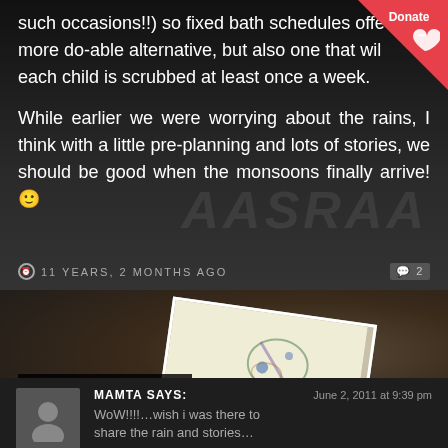such occasions!!) so fixed bath schedules offer more do-able alternative, but also one that will each child is scrubbed at least once a week.
While earlier we were worrying about the rains, I think with a little pre-planning and lots of stories, we should be good when the monsoons finally arrive! 🙂
11 YEARS, 2 MONTHS AGO
2 Responses
MAMTA SAYS:
June 2, 2011 at 9:39 pm
WoW!!!!…wish i was there to share the rain and stories…